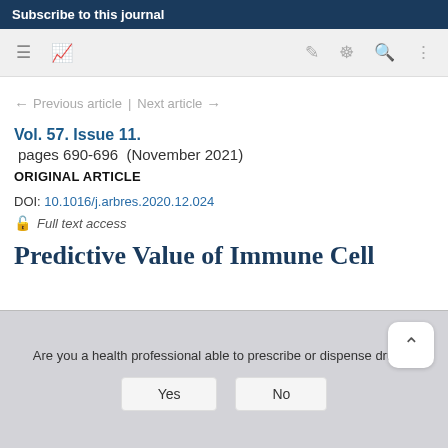Subscribe to this journal
← Previous article | Next article →
Vol. 57. Issue 11.
pages 690-696  (November 2021)
ORIGINAL ARTICLE
DOI: 10.1016/j.arbres.2020.12.024
Full text access
Predictive Value of Immune Cell
Are you a health professional able to prescribe or dispense drugs?
Yes
No